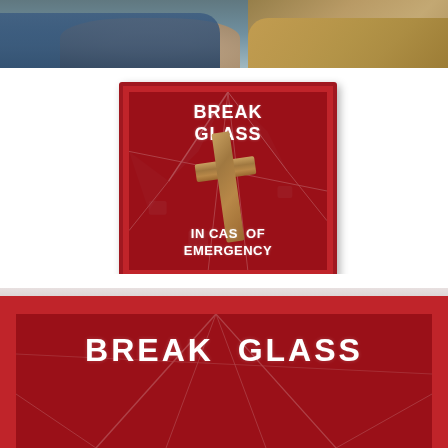[Figure (photo): Top portion of a photo showing people, partial view of hands and clothing (jeans, tan jacket)]
[Figure (photo): A red emergency box with broken glass containing a wooden cross. Text on the box reads: BREAK GLASS / IN CASE OF EMERGENCY]
[Figure (photo): Bottom cropped view of a similar red emergency box with broken glass text reading BREAK GLASS, larger view]